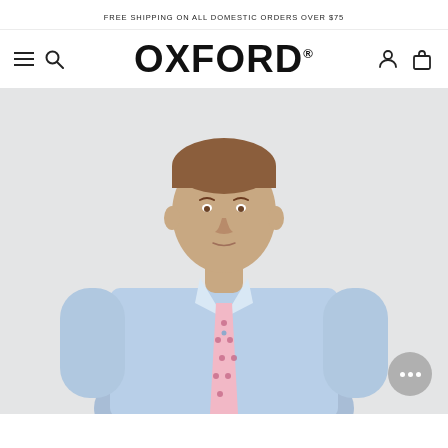FREE SHIPPING ON ALL DOMESTIC ORDERS OVER $75
[Figure (logo): Oxford brand logo with hamburger menu icon, search icon on left, and user account and shopping bag icons on right]
[Figure (photo): Male model wearing a light blue dress shirt with a pink patterned tie, photographed from waist up against a light grey background. A chat bubble with ellipsis appears in the bottom right corner.]